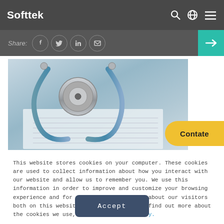Softtek
assistência médica na Argentina
tranquiliza negócios introduzindo...
[Figure (screenshot): Share bar with Facebook, Twitter, LinkedIn, email icons and a teal arrow button]
[Figure (photo): Medical stethoscope on paper documents, blue-grey tones]
Contate
This website stores cookies on your computer. These cookies are used to collect information about how you interact with our website and allow us to remember you. We use this information in order to improve and customize your browsing experience and for analytics and metrics about our visitors both on this website and other media. To find out more about the cookies we use, see our Privacy Policy.
Accept